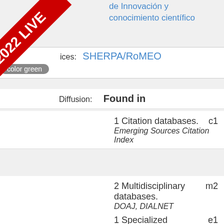de Innovación y conocimiento científico
Indices: SHERPA/RoMEO color green
Diffusion: Found in
1 Citation databases. Emerging Sources Citation Index c1
2 Multidisciplinary databases. DOAJ, DIALNET m2
1 Specialized databases e1